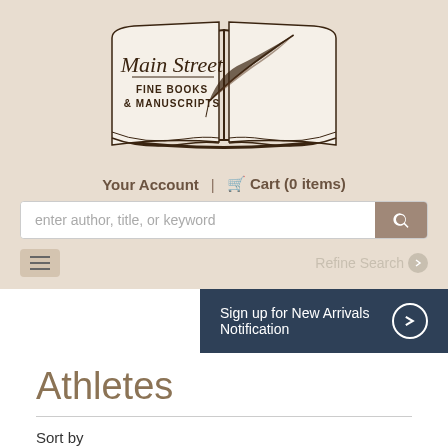[Figure (logo): Main Street Fine Books & Manuscripts logo — open book with quill pen illustration]
Your Account  |  Cart (0 items)
enter author, title, or keyword
Refine Search
Sign up for New Arrivals Notification
Athletes
Sort by
Author